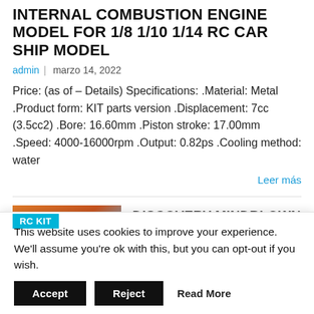INTERNAL COMBUSTION ENGINE MODEL FOR 1/8 1/10 1/14 RC CAR SHIP MODEL
admin | marzo 14, 2022
Price: (as of – Details) Specifications: .Material: Metal .Product form: KIT parts version .Displacement: 7cc (3.5cc2) .Bore: 16.60mm .Piston stroke: 17.00mm .Speed: 4000-16000rpm .Output: 0.82ps .Cooling method: water
Leer más
[Figure (photo): Product thumbnail image of Discovery Mindblown STEM Model Motor Engine Kit with RC KIT badge overlay]
DISCOVERY MINDBLOWN STEM MODEL MOTOR ENGINE KIT
This website uses cookies to improve your experience. We'll assume you're ok with this, but you can opt-out if you wish.
Accept   Reject   Read More